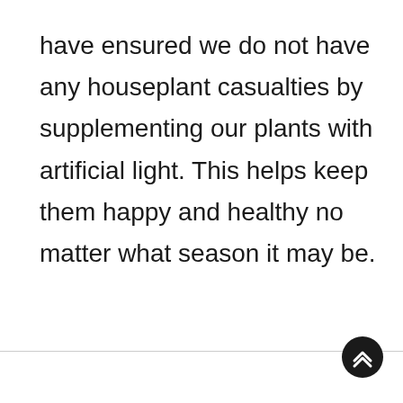have ensured we do not have any houseplant casualties by supplementing our plants with artificial light. This helps keep them happy and healthy no matter what season it may be.
[Figure (other): Dark circular scroll-to-top button with double chevron up arrows, positioned at bottom right of page]